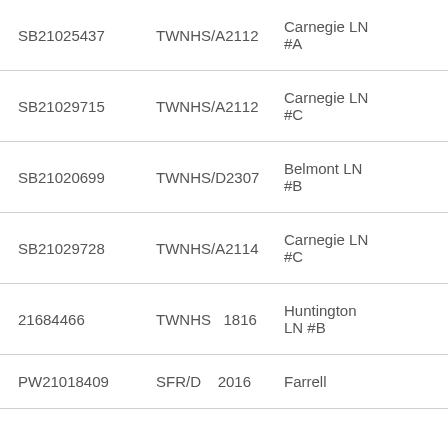| MLS# | Type | Address | Price |
| --- | --- | --- | --- |
| SB21025437 | TWNHS/A2112 | Carnegie LN #A | $1,400,000$59... |
| SB21029715 | TWNHS/A2112 | Carnegie LN #C | $1,420,000$60... |
| SB21020699 | TWNHS/D2307 | Belmont LN #B | $1,422,000$58... |
| SB21029728 | TWNHS/A2114 | Carnegie LN #C | $1,425,000$60... |
| 21684466 | TWNHS 1816 | Huntington LN #B | $1,460,000$62... |
| PW21018409 | SFR/D 2016 | Farrell | $1,500,000$1,5... |